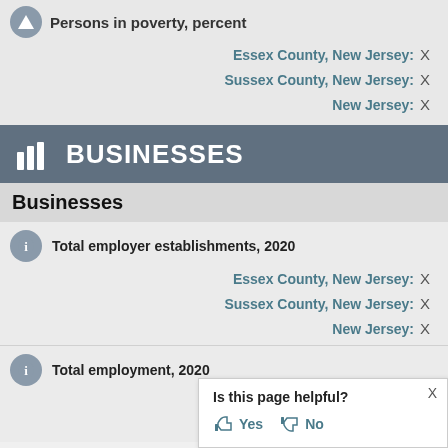Persons in poverty, percent
Essex County, New Jersey: X
Sussex County, New Jersey: X
New Jersey: X
BUSINESSES
Businesses
Total employer establishments, 2020
Essex County, New Jersey: X
Sussex County, New Jersey: X
New Jersey: X
Total employment, 2020
Essex County, New Jersey: X
Sussex County, New Jersey: X
Is this page helpful? Yes No